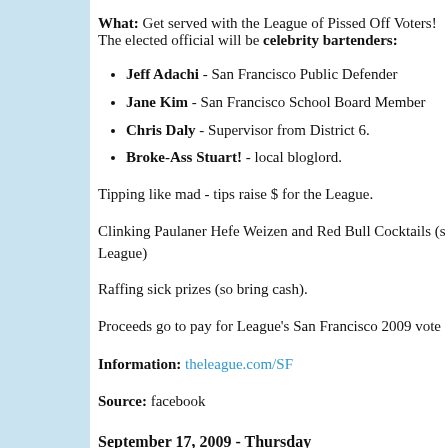What: Get served with the League of Pissed Off Voters! The elected official will be celebrity bartenders:
Jeff Adachi - San Francisco Public Defender
Jane Kim - San Francisco School Board Member
Chris Daly - Supervisor from District 6.
Broke-Ass Stuart! - local bloglord.
Tipping like mad - tips raise $ for the League.
Clinking Paulaner Hefe Weizen and Red Bull Cocktails (s League)
Raffing sick prizes (so bring cash).
Proceeds go to pay for League's San Francisco 2009 vote
Information: theleague.com/SF
Source: facebook
September 17, 2009 - Thursday
*Haynes Johnson and Dan Balz: How the 2008 Electio
When: September 17, 2009 - Thursday
11:30 a.m.